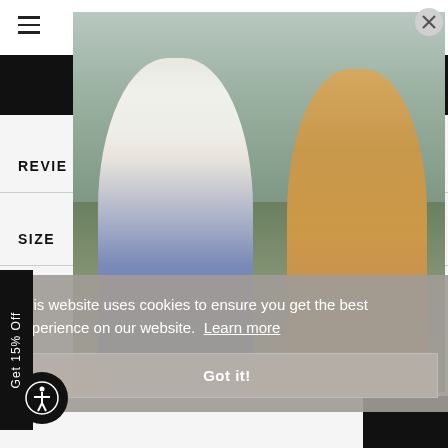[Figure (screenshot): E-commerce website screenshot showing a modal popup with two female models posing outdoors. Left model wears white crop top and jeans, right model wears yellow floral mini dress. Mountain background. Website UI includes hamburger menu, bag icon, REVIEWS and SIZE accordion rows, a 'shop it' button, a '15% Off' rotating tab, and a cookie consent banner.]
shop it
REVIE
SIZE
Get 15% Off
This website uses cookies to ensure you get the best experience on our website.
Learn more
Got it!